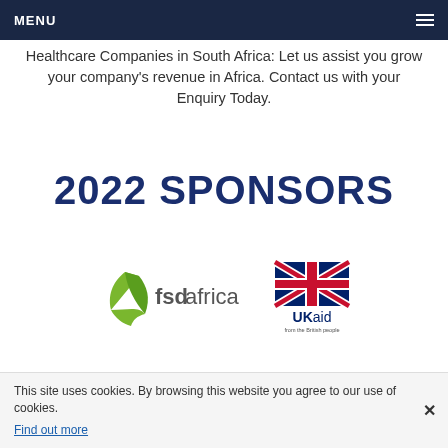MENU
Healthcare Companies in South Africa: Let us assist you grow your company's revenue in Africa. Contact us with your Enquiry Today.
2022 SPONSORS
[Figure (logo): FSD Africa logo — green leaf/arrow shape with 'fsdafrica' text in dark grey]
[Figure (logo): UK Aid logo — Union Jack flag above 'UKaid' text with tagline 'from the British people']
This site uses cookies. By browsing this website you agree to our use of cookies. Find out more